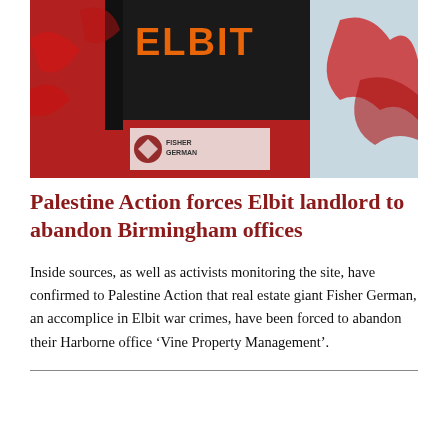[Figure (photo): Protest photo showing a black flag with orange 'ELBIT' text, red paint splattered on a building facade, and a Fisher German real estate company logo/sign visible in the background.]
Palestine Action forces Elbit landlord to abandon Birmingham offices
Inside sources, as well as activists monitoring the site, have confirmed to Palestine Action that real estate giant Fisher German, an accomplice in Elbit war crimes, have been forced to abandon their Harborne office ‘Vine Property Management’.